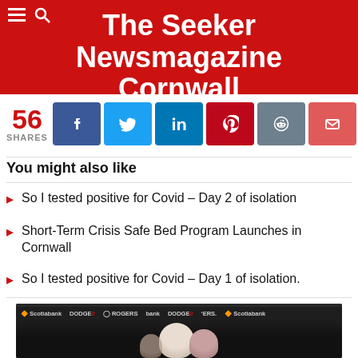The Seeker Newsmagazine Cornwall
56 SHARES
[Figure (infographic): Social share buttons: Facebook, Twitter, LinkedIn, Pinterest, Reddit, Email]
You might also like
So I tested positive for Covid – Day 2 of isolation
Short-Term Crisis Safe Bed Program Launches in Cornwall
So I tested positive for Covid – Day 1 of isolation.
[Figure (photo): Photo of people at an event with Scotiabank, Dodge, Rogers sponsor banners in the background]